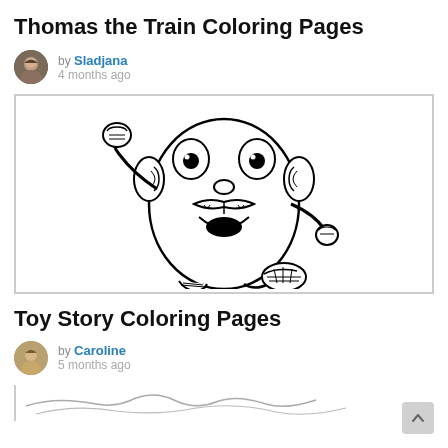Thomas the Train Coloring Pages
by Sladjana
4 months ago
[Figure (illustration): Mr. Potato Head coloring page outline drawing — character running with fist raised, wearing shoes, with large eyes, mustache, and open mouth]
Toy Story Coloring Pages
by Caroline
5 months ago
[Figure (illustration): Partial coloring page illustration visible at bottom of page]